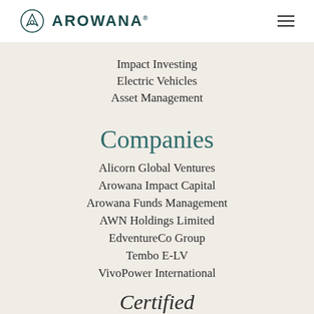AROWANA
Impact Investing
Electric Vehicles
Asset Management
Companies
Alicorn Global Ventures
Arowana Impact Capital
Arowana Funds Management
AWN Holdings Limited
EdventureCo Group
Tembo E-LV
VivoPower International
Certified